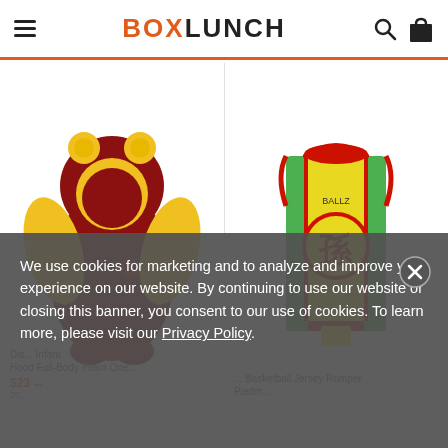BOXLUNCH
[Figure (photo): Disney Winnie the Pooh inspired infant hooded full-body footie onesie in red and yellow]
[Figure (photo): Dragonball Z inspired infant basketball jersey romper in yellow, green, and red with Chinese character patch]
Disney ... Infant Hood Full-Body Infant One... Basketball Jersey Romper Piedmont...
$23... 20...
We use cookies for marketing and to analyze and improve your experience on our website. By continuing to use our website or closing this banner, you consent to our use of cookies. To learn more, please visit our Privacy Policy.